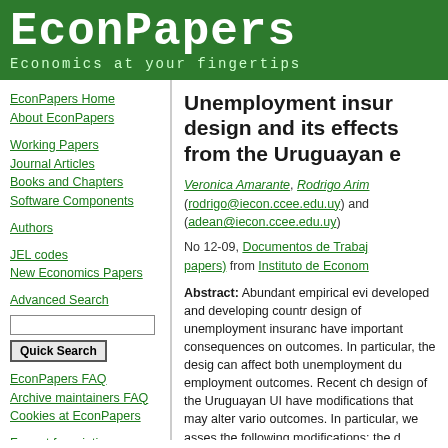EconPapers
Economics at your fingertips
EconPapers Home
About EconPapers
Working Papers
Journal Articles
Books and Chapters
Software Components
Authors
JEL codes
New Economics Papers
Advanced Search
EconPapers FAQ
Archive maintainers FAQ
Cookies at EconPapers
Format for printing
Unemployment insur design and its effects from the Uruguayan e
Veronica Amarante, Rodrigo Arim (rodrigo@iecon.ccee.edu.uy) and (adean@iecon.ccee.edu.uy)
No 12-09, Documentos de Trabajo papers) from Instituto de Econom
Abstract: Abundant empirical evi developed and developing countr design of unemployment insuranc have important consequences on outcomes. In particular, the desig can affect both unemployment du employment outcomes. Recent ch design of the Uruguayan UI have modifications that may alter vario outcomes. In particular, we asses the following modifications: the d